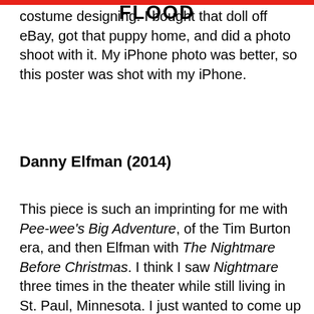costume designing. I bought that doll off eBay, got that puppy home, and did a photo shoot with it. My iPhone photo was better, so this poster was shot with my iPhone.
Danny Elfman (2014)
This piece is such an imprinting for me with Pee-wee's Big Adventure, of the Tim Burton era, and then Elfman with The Nightmare Before Christmas. I think I saw Nightmare three times in the theater while still living in St. Paul, Minnesota. I just wanted to come up with an image that was completely fucking googly and creepy, like Danny Elfman.